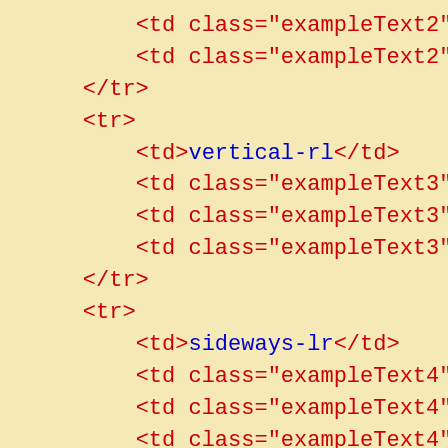<td class="exampleText2">Exa
    <td class="exampleText2">199
</tr>
<tr>
    <td>vertical-rl</td>
    <td class="exampleText3">□□□
    <td class="exampleText3">Exa
    <td class="exampleText3">199
</tr>
<tr>
    <td>sideways-lr</td>
    <td class="exampleText4">□□□
    <td class="exampleText4">Exa
    <td class="exampleText4">199
</tr>
<tr>